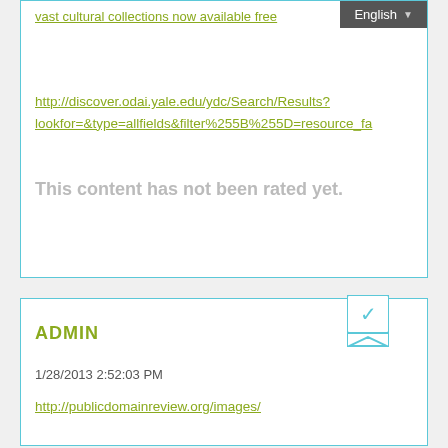vast cultural collections now available free
English
http://discover.odai.yale.edu/ydc/Search/Results?lookfor=&type=allfields&filter%255B%255D=resource_fa
This content has not been rated yet.
ADMIN
1/28/2013 2:52:03 PM
http://publicdomainreview.org/images/